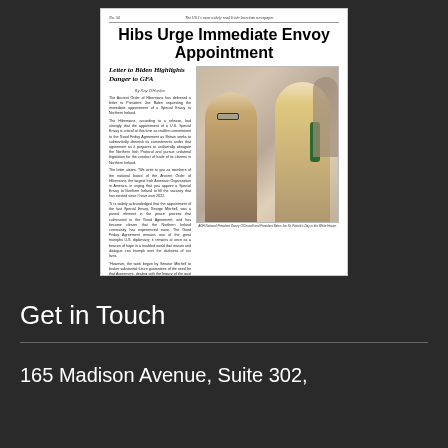[Figure (photo): Newspaper front page clipping showing headline 'Hibs Urge Immediate Envoy Appointment' with subheadline 'Letter to Biden Highlights Danger to GFA', article text, and a photo of two men (AOH National President Danny O'Connell and President Biden) shaking hands at the White House on St. Patrick's Day.]
Get in Touch
165 Madison Avenue, Suite 302,